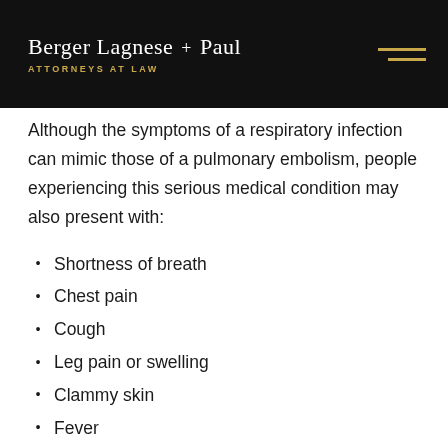Berger Lagnese + Paul ATTORNEYS AT LAW
Although the symptoms of a respiratory infection can mimic those of a pulmonary embolism, people experiencing this serious medical condition may also present with:
Shortness of breath
Chest pain
Cough
Leg pain or swelling
Clammy skin
Fever